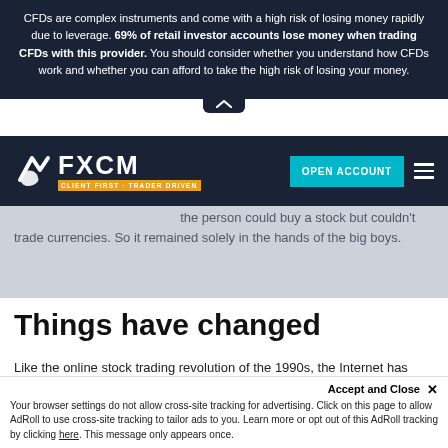CFDs are complex instruments and come with a high risk of losing money rapidly due to leverage. 69% of retail investor accounts lose money when trading CFDs with this provider. You should consider whether you understand how CFDs work and whether you can afford to take the high risk of losing your money.
[Figure (logo): FXCM logo with tagline CLIENT FIRST · TRADER DRIVEN, navigation bar with OPEN ACCOUNT button and hamburger menu]
Many have not heard of this market because the [market] has been largely... the average person could buy a stock but couldn't trade currencies. So it remained solely in the hands of the big boys.
Things have changed
Like the online stock trading revolution of the 1990s, the Internet has brought forex trading within reach of the...
Your browser settings do not allow cross-site tracking for advertising. Click on this page to allow AdRoll to use cross-site tracking to tailor ads to you. Learn more or opt out of this AdRoll tracking by clicking here. This message only appears once.